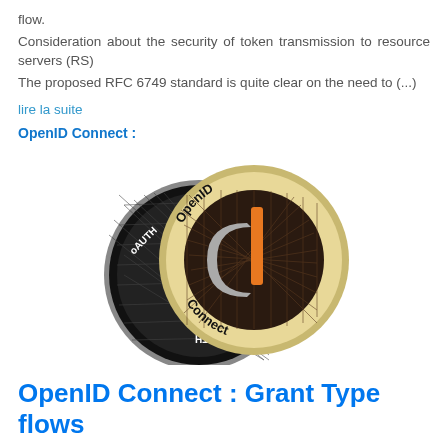flow.
Consideration about the security of token transmission to resource servers (RS)
The proposed RFC 6749 standard is quite clear on the need to (...)
lire la suite
OpenID Connect :
[Figure (photo): Two overlapping circular coin-like badges. The back coin is dark/black with 'OAuth 2' text and a cross-hatch pattern. The front coin has a gold/cream outer ring with 'OpenID Connect' text and a dark center with the OpenID Connect logo (orange key shape).]
OpenID Connect : Grant Type flows